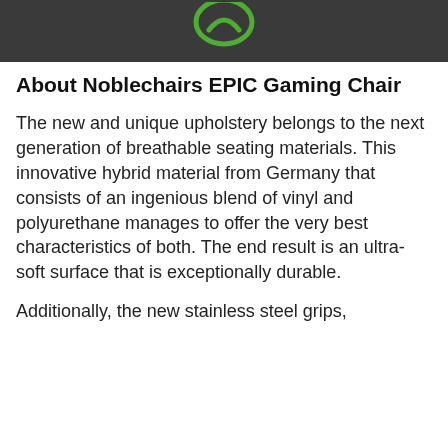[Figure (logo): Noblechairs logo on dark background — green circular/curved emblem visible at top center on dark gray/charcoal background]
About Noblechairs EPIC Gaming Chair
The new and unique upholstery belongs to the next generation of breathable seating materials. This innovative hybrid material from Germany that consists of an ingenious blend of vinyl and polyurethane manages to offer the very best characteristics of both. The end result is an ultra-soft surface that is exceptionally durable.
Additionally, the new stainless steel grips,